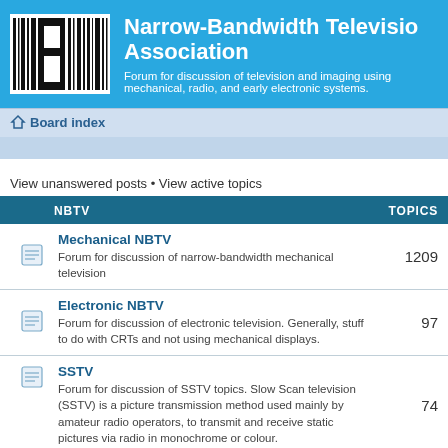Narrow-Bandwidth Television Association
Forum for discussion of television and imaging using mechanical, radio, and early electronic systems.
Board index
View unanswered posts • View active topics
| NBTV | TOPICS |
| --- | --- |
| Mechanical NBTV
Forum for discussion of narrow-bandwidth mechanical television | 1209 |
| Electronic NBTV
Forum for discussion of electronic television. Generally, stuff to do with CRTs and not using mechanical displays. | 97 |
| SSTV
Forum for discussion of SSTV topics. Slow Scan television (SSTV) is a picture transmission method used mainly by amateur radio operators, to transmit and receive static pictures via radio in monochrome or colour. | 74 |
| Off Topic |  |